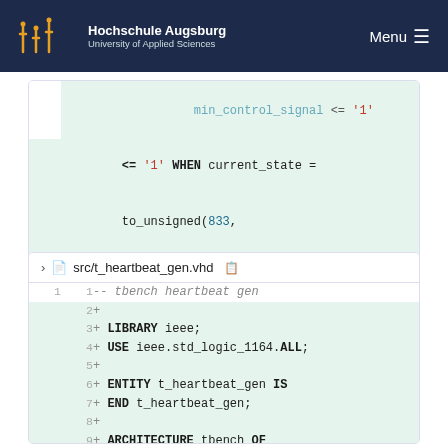Hochschule Augsburg University of Applied Sciences   Menu
[Figure (screenshot): Code diff view showing VHDL code snippet with line numbers. Lines 39-41 visible: line 39 is added (+), lines 28/40 and 29/41 show END rtl;]
[Figure (screenshot): Code diff view for src/t_heartbeat_gen.vhd showing added lines 1-10 of a VHDL testbench file]